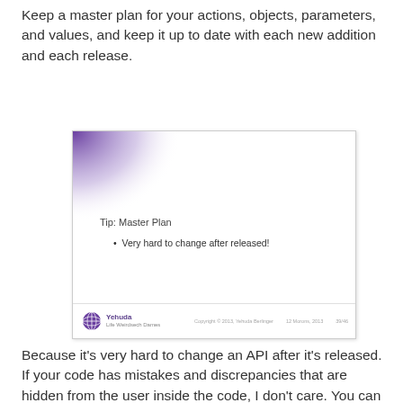Keep a master plan for your actions, objects, parameters, and values, and keep it up to date with each new addition and each release.
[Figure (screenshot): A presentation slide titled 'Tip: Master Plan' with a bullet point 'Very hard to change after released!' and a Yehuda Life Weirdsech Dames logo in the footer.]
Because it's very hard to change an API after it's released. If your code has mistakes and discrepancies that are hidden from the user inside the code, I don't care. You can release new code and fix it. When an API is released and customers are using it, it's painful and annoying to have to rewire an applications to incorporate the new API. It's worthwhile